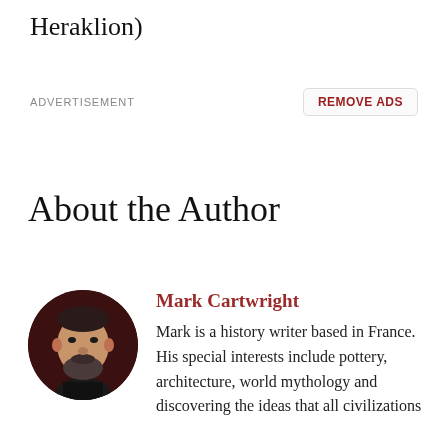Heraklion)
ADVERTISEMENT
REMOVE ADS
About the Author
[Figure (photo): Circular portrait photo of Mark Cartwright, a bearded man against a dark background]
Mark Cartwright
Mark is a history writer based in France. His special interests include pottery, architecture, world mythology and discovering the ideas that all civilizations